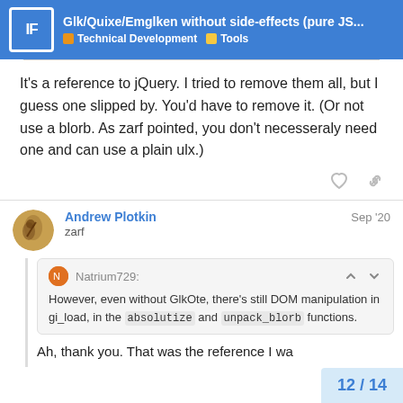Glk/Quixe/Emglken without side-effects (pure JS... | Technical Development | Tools
It's a reference to jQuery. I tried to remove them all, but I guess one slipped by. You'd have to remove it. (Or not use a blorb. As zarf pointed, you don't necesseraly need one and can use a plain ulx.)
Andrew Plotkin
zarf
Sep '20
Natrium729:
However, even without GlkOte, there's still DOM manipulation in gi_load, in the absolutize and unpack_blorb functions.
Ah, thank you. That was the reference I wa
12 / 14